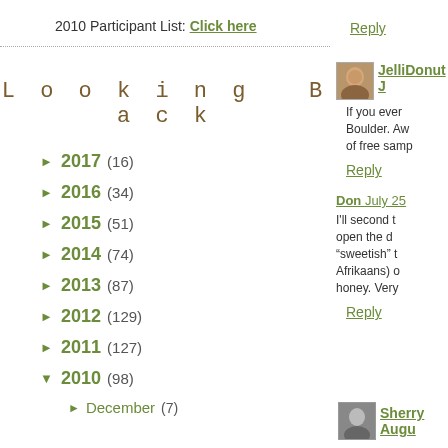2010 Participant List: Click here
Looking Back
► 2017 (16)
► 2016 (34)
► 2015 (51)
► 2014 (74)
► 2013 (87)
► 2012 (129)
► 2011 (127)
▼ 2010 (98)
► December (7)
Reply
JelliDonut J
If you ever Boulder. Aw of free samp
Reply
Don July 25
I'll second t open the d "sweetish" t Afrikaans) o honey. Very
Reply
Sherry Augu